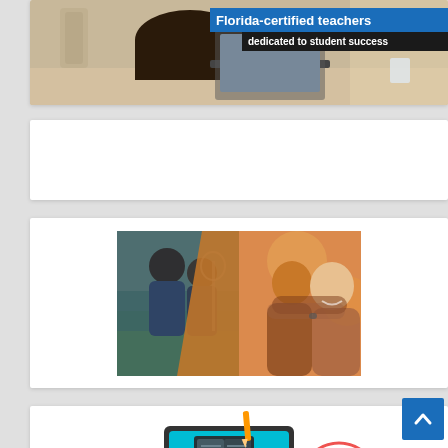[Figure (photo): Person at laptop with text overlay: 'Florida-certified teachers dedicated to student success']
[Figure (photo): Blank white card placeholder]
[Figure (photo): Composite photo: children studying in nature on left, two people hugging and smiling on right, split diagonally]
[Figure (illustration): E-learning illustration with computer monitor, books, tablet, and target/goal icons]
[Figure (other): Scroll to top button with upward arrow, blue background]